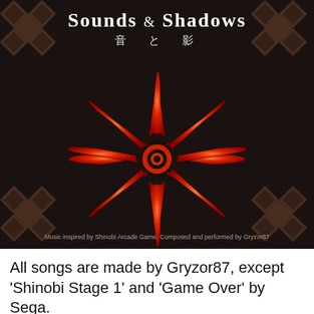[Figure (illustration): Album cover art for 'Sounds & Shadows' (音と影) by Gryzor87. Dark background with Japanese geometric corner patterns in brown. Central image is a large red and orange shuriken (throwing star) with 8 points. White serif title text at top reads 'Sounds & Shadows' with Japanese subtitle '音と影'. Small credit text at bottom reads 'Music inspired by Shinobi Arcade Game. Composed and performed by Gryzor87'.]
All songs are made by Gryzor87, except 'Shinobi Stage 1' and 'Game Over' by Sega.